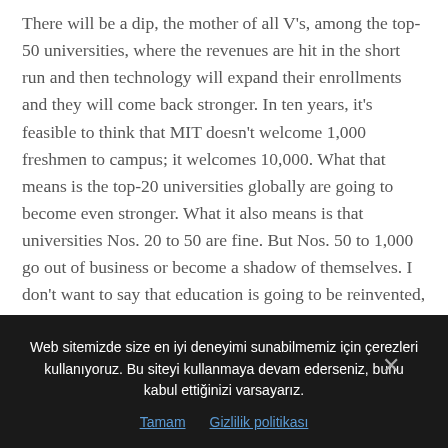There will be a dip, the mother of all V's, among the top-50 universities, where the revenues are hit in the short run and then technology will expand their enrollments and they will come back stronger. In ten years, it's feasible to think that MIT doesn't welcome 1,000 freshmen to campus; it welcomes 10,000. What that means is the top-20 universities globally are going to become even stronger. What it also means is that universities Nos. 20 to 50 are fine. But Nos. 50 to 1,000 go out of business or become a shadow of themselves. I don't want to say that education is going to be reinvented, but it's going to be dramatically different.
Web sitemizde size en iyi deneyimi sunabilmemiz için çerezleri kullanıyoruz. Bu siteyi kullanmaya devam ederseniz, bunu kabul ettiğinizi varsayarız.
Tamam   Gizlilik politikası